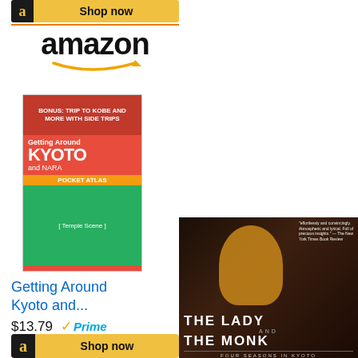[Figure (other): Amazon 'Shop now' button (partially visible at top), with black Amazon 'a' icon on left and yellow background]
[Figure (logo): Amazon logo with orange smile/arrow beneath the text]
[Figure (photo): Book cover: 'Getting Around Kyoto and Nara Pocket Atlas' with red, orange, and green design]
Getting Around Kyoto and...
$13.79  ✓Prime
[Figure (other): Amazon 'Shop now' button with black Amazon 'a' icon on left and yellow background]
[Figure (photo): Book cover: 'The Lady and The Monk: Four Seasons in Kyoto' showing a woman in yellow kimono]